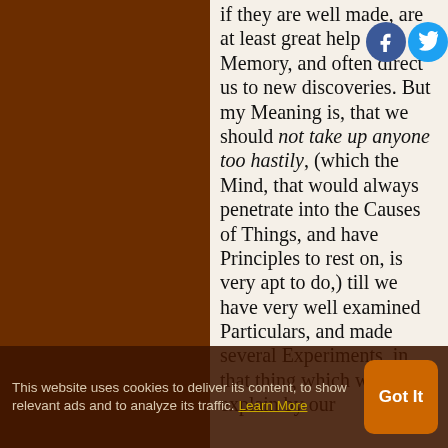if they are well made, are at least great helps to the Memory, and often direct us to new discoveries. But my Meaning is, that we should not take up anyone too hastily, (which the Mind, that would always penetrate into the Causes of Things, and have Principles to rest on, is very apt to do,) till we have very well examined Particulars, and made several Experiments, in that thing which we would explain by our
This website uses cookies to deliver its content, to show relevant ads and to analyze its traffic. Learn More